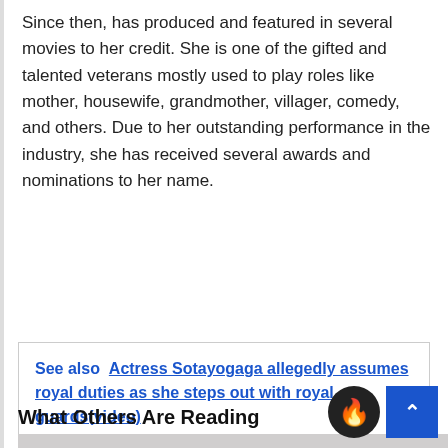Since then, has produced and featured in several movies to her credit. She is one of the gifted and talented veterans mostly used to play roles like mother, housewife, grandmother, villager, comedy, and others. Due to her outstanding performance in the industry, she has received several awards and nominations to her name.
See also  Actress Sotayogaga allegedly assumes royal duties as she steps out with royal guards(video)
What Others Are Reading
[Figure (photo): Partially visible photo at bottom of page showing a person wearing a green headscarf and another figure in background]